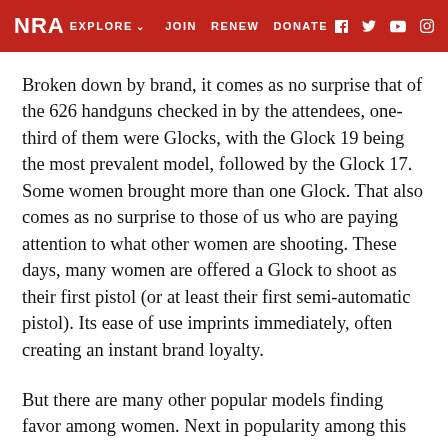NRA EXPLORE JOIN RENEW DONATE
Broken down by brand, it comes as no surprise that of the 626 handguns checked in by the attendees, one-third of them were Glocks, with the Glock 19 being the most prevalent model, followed by the Glock 17. Some women brought more than one Glock. That also comes as no surprise to those of us who are paying attention to what other women are shooting. These days, many women are offered a Glock to shoot as their first pistol (or at least their first semi-automatic pistol). Its ease of use imprints immediately, often creating an instant brand loyalty.
But there are many other popular models finding favor among women. Next in popularity among this